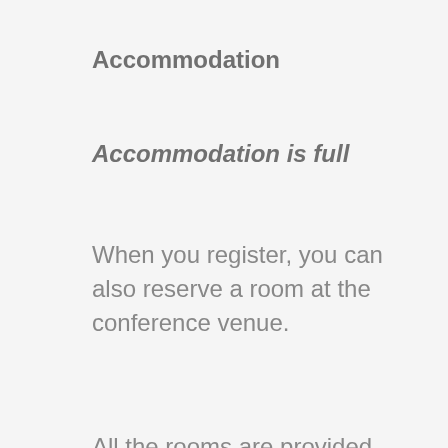Accommodation
Accommodation is full
When you register, you can also reserve a room at the conference venue.
All the rooms are provided with telephone, bathroom, TV and free wifi.
This website uses cookies to improve your experience. We'll assume you're ok with this, but you can opt-out if you wish.
Cookie settings
ACCEPT